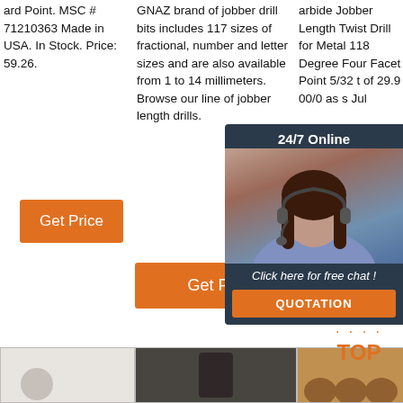ard Point. MSC # 71210363 Made in USA. In Stock. Price: 59.26.
[Figure (other): Orange 'Get Price' button in column 1]
GNAZ brand of jobber drill bits includes 117 sizes of fractional, number and letter sizes and are also available from 1 to 14 millimeters. Browse our line of jobber length drills.
arbide Jobber Length Twist Drill for Metal 118 Degree Four Facet Point 5/32 t of 29.9 00/0 as s Jul
[Figure (other): 24/7 Online chat widget with agent photo and QUOTATION button]
[Figure (other): Orange 'Get Price' button in column 2]
[Figure (other): Orange 'Get Price' button in column 3]
[Figure (other): TOP back-to-top button with orange dots]
[Figure (photo): Product image placeholder - light gray, column 1 bottom]
[Figure (photo): Product image placeholder - dark, column 2 bottom]
[Figure (photo): Product image placeholder - brown drill bits, column 3 bottom]